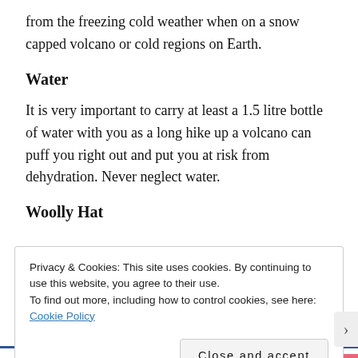from the freezing cold weather when on a snow capped volcano or cold regions on Earth.
Water
It is very important to carry at least a 1.5 litre bottle of water with you as a long hike up a volcano can puff you right out and put you at risk from dehydration. Never neglect water.
Woolly Hat
Privacy & Cookies: This site uses cookies. By continuing to use this website, you agree to their use.
To find out more, including how to control cookies, see here: Cookie Policy
Close and accept